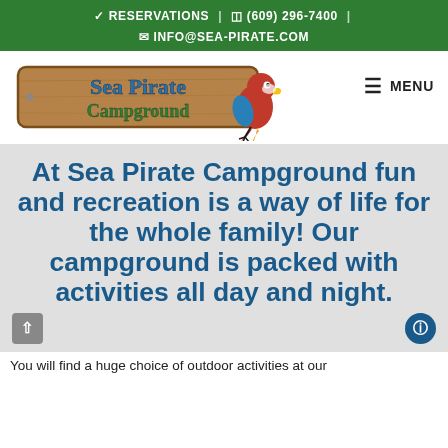✓ RESERVATIONS | ☐ (609) 296-7400 | ✉ INFO@SEA-PIRATE.COM
[Figure (logo): Sea Pirate Campground logo with wooden sign text and red parrot mascot]
≡ MENU
At Sea Pirate Campground fun and recreation is a way of life for the whole family! Our campground is packed with activities all day and night.
You will find a huge choice of outdoor activities at our